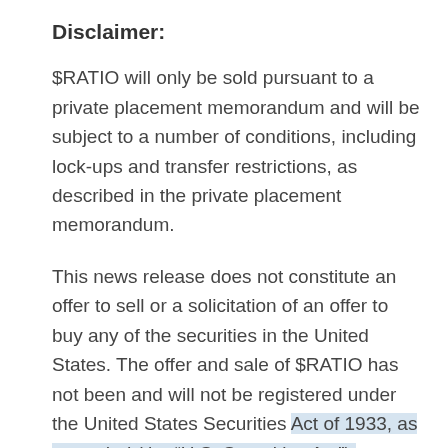Disclaimer:
$RATIO will only be sold pursuant to a private placement memorandum and will be subject to a number of conditions, including lock-ups and transfer restrictions, as described in the private placement memorandum.
This news release does not constitute an offer to sell or a solicitation of an offer to buy any of the securities in the United States. The offer and sale of $RATIO has not been and will not be registered under the United States Securities Act of 1933, as amended (the “U.S. Securities Act”), or any state securities laws and $RATIO may not be offered or sold within the United States